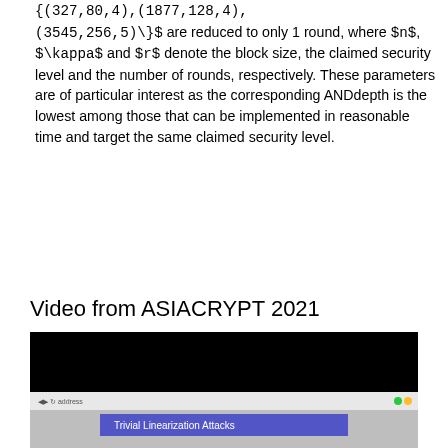{(327,80,4),(1877,128,4),(3545,256,5)\}$ are reduced to only 1 round, where $n$, $\kappa$ and $r$ denote the block size, the claimed security level and the number of rounds, respectively. These parameters are of particular interest as the corresponding ANDdepth is the lowest among those that can be implemented in reasonable time and target the same claimed security level.
Video from ASIACRYPT 2021
[Figure (screenshot): Video screenshot showing a presentation titled 'Trivial Linearization Attacks' displayed in a browser window with a black video area and gray lower portion.]